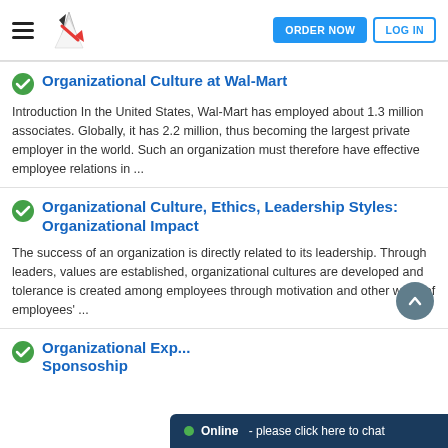ORDER NOW  LOG IN
Organizational Culture at Wal-Mart
Introduction In the United States, Wal-Mart has employed about 1.3 million associates. Globally, it has 2.2 million, thus becoming the largest private employer in the world. Such an organization must therefore have effective employee relations in ...
Organizational Culture, Ethics, Leadership Styles: Organizational Impact
The success of an organization is directly related to its leadership. Through leaders, values are established, organizational cultures are developed and tolerance is created among employees through motivation and other ways of employees' ...
Organizational Exp... Sponsoship